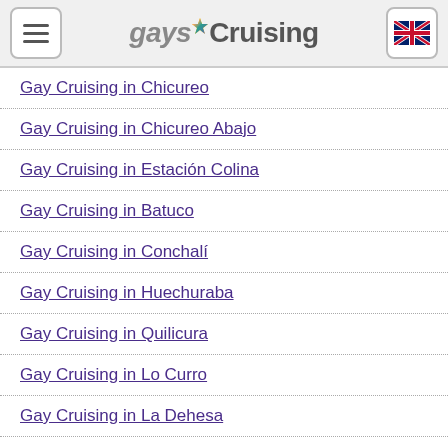gaysCruising
Gay Cruising in Chicureo
Gay Cruising in Chicureo Abajo
Gay Cruising in Estación Colina
Gay Cruising in Batuco
Gay Cruising in Conchalí
Gay Cruising in Huechuraba
Gay Cruising in Quilicura
Gay Cruising in Lo Curro
Gay Cruising in La Dehesa
Gay Cruising in Santa Teresa de Lo Ovalle
Gay Cruising in Vitacura
Gay Cruising in Lo Barnechea
Gay Cruising in El Mirador
Gay Cruising in Carrascal